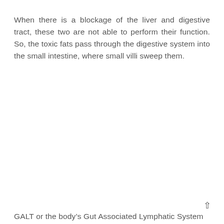When there is a blockage of the liver and digestive tract, these two are not able to perform their function. So, the toxic fats pass through the digestive system into the small intestine, where small villi sweep them.
GALT or the body's Gut Associated Lymphatic System